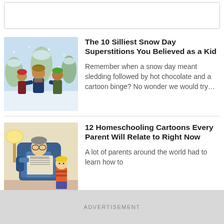[Figure (other): Rounded white card placeholder at the top of the page]
[Figure (photo): Children playing in the snow, wearing winter clothes, smiling]
The 10 Silliest Snow Day Superstitions You Believed as a Kid
Remember when a snow day meant sledding followed by hot chocolate and a cartoon binge? No wonder we would try…
[Figure (illustration): Cartoon illustration of a father sitting in an armchair reading a newspaper while a child stands nearby — homeschooling cartoon style]
12 Homeschooling Cartoons Every Parent Will Relate to Right Now
A lot of parents around the world had to learn how to
ADVERTISEMENT